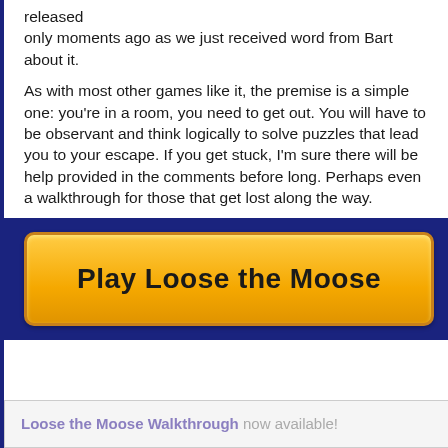released
only moments ago as we just received word from Bart about it.
As with most other games like it, the premise is a simple one: you're in a room, you need to get out. You will have to be observant and think logically to solve puzzles that lead you to your escape. If you get stuck, I'm sure there will be help provided in the comments before long. Perhaps even a walkthrough for those that get lost along the way.
[Figure (other): Orange button with text 'Play Loose the Moose' on a dark blue background]
Loose the Moose Walkthrough now available!